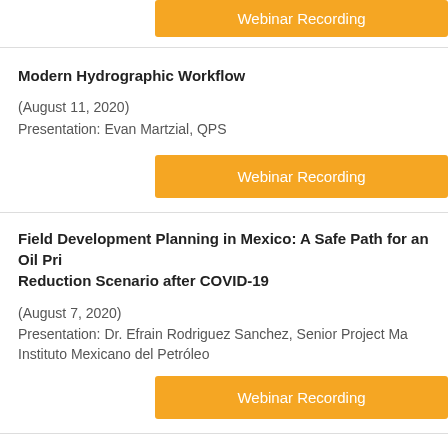Webinar Recording (button, top)
Modern Hydrographic Workflow
(August 11, 2020)
Presentation: Evan Martzial, QPS
Webinar Recording
Field Development Planning in Mexico: A Safe Path for an Oil Price Reduction Scenario after COVID-19
(August 7, 2020)
Presentation: Dr. Efrain Rodriguez Sanchez, Senior Project Manager, Instituto Mexicano del Petróleo
Webinar Recording
Teledyne CARIS: Leveraging AI Technology On The Cloud For Th...